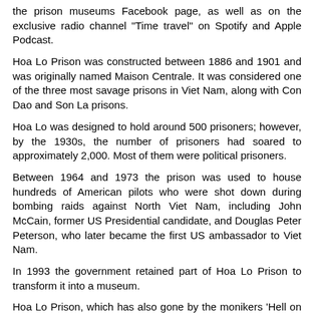the prison museums Facebook page, as well as on the exclusive radio channel "Time travel" on Spotify and Apple Podcast.
Hoa Lo Prison was constructed between 1886 and 1901 and was originally named Maison Centrale. It was considered one of the three most savage prisons in Viet Nam, along with Con Dao and Son La prisons.
Hoa Lo was designed to hold around 500 prisoners; however, by the 1930s, the number of prisoners had soared to approximately 2,000. Most of them were political prisoners.
Between 1964 and 1973 the prison was used to house hundreds of American pilots who were shot down during bombing raids against North Viet Nam, including John McCain, former US Presidential candidate, and Douglas Peter Peterson, who later became the first US ambassador to Viet Nam.
In 1993 the government retained part of Hoa Lo Prison to transform it into a museum.
Hoa Lo Prison, which has also gone by the monikers 'Hell on Earth'; 'The School for Patriots' and the 'Hanoi Hilton', is located at 1 Hoa Lo Street, in the centre of Ha Noi.